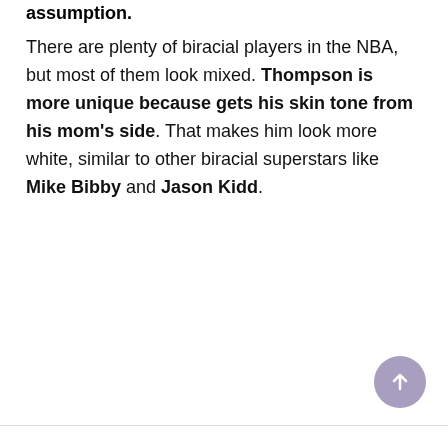assumption. There are plenty of biracial players in the NBA, but most of them look mixed. Thompson is more unique because gets his skin tone from his mom's side. That makes him look more white, similar to other biracial superstars like Mike Bibby and Jason Kidd.